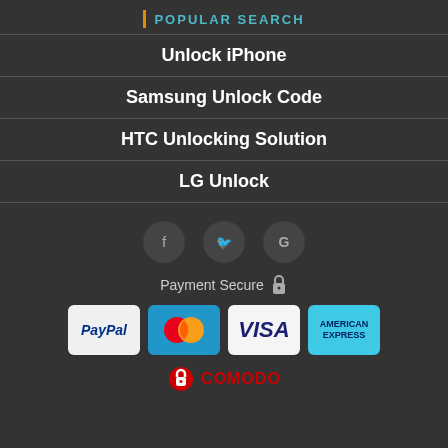POPULAR SEARCH
Unlock iPhone
Samsung Unlock Code
HTC Unlocking Solution
LG Unlock
[Figure (infographic): Social media icons: Facebook, Twitter, Google in dark circles]
Payment Secure 🔒
[Figure (infographic): Payment method logos: PayPal, MasterCard, VISA, American Express]
[Figure (logo): Comodo security logo at the bottom]